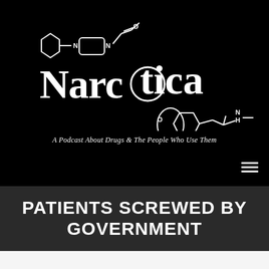[Figure (logo): Narcotica podcast logo on black background — chemical structure diagrams (fentanyl and MDMA molecular structures) integrated with the word 'Narcotica' in white; tagline 'A Podcast About Drugs & The People Who Use Them' in italic white text below]
PATIENTS SCREWED BY GOVERNMENT